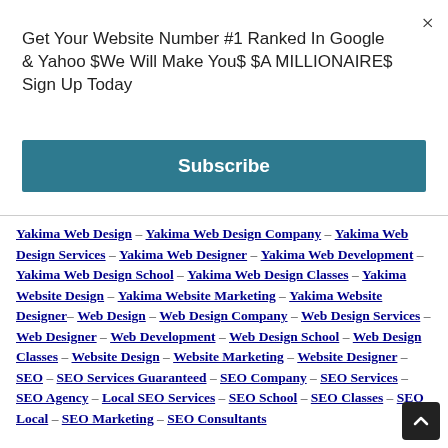Get Your Website Number #1 Ranked In Google & Yahoo $We Will Make You$ $A MILLIONAIRE$ Sign Up Today
Subscribe
Yakima Web Design – Yakima Web Design Company – Yakima Web Design Services – Yakima Web Designer – Yakima Web Development – Yakima Web Design School – Yakima Web Design Classes – Yakima Website Design – Yakima Website Marketing – Yakima Website Designer – Web Design – Web Design Company – Web Design Services – Web Designer – Web Development – Web Design School – Web Design Classes – Website Design – Website Marketing – Website Designer – SEO – SEO Services Guaranteed – SEO Company – SEO Services – SEO Agency – Local SEO Services – SEO School – SEO Classes – SEO Local – SEO Marketing – SEO Consultants